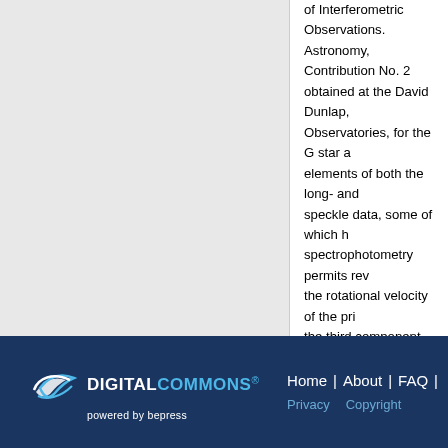of Interferometric Observations. Astronomy, Contribution No. 2 obtained at the David Dunlap, Observatories, for the G star a elements of both the long- and speckle data, some of which h spectrophotometry permits rev the rotational velocity of the pr the third component. These re solution of Van Hamme et al (1 luminosities of all three stars, a
Recommended Citation
Scarfe, C.D.; Barlow, D.J.; Fekel, Hartkopf, W.I. "The Spectroscopic p.1529 (1994)
[Figure (logo): Digital Commons powered by bepress logo in white and light blue on dark navy background, with navigation links Home | About | FAQ and Privacy, Copyright]